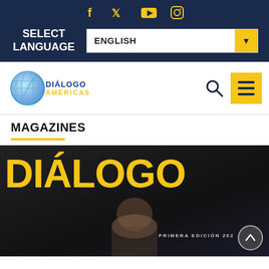[Figure (screenshot): Social media icons: Facebook, Twitter, YouTube, Instagram in yellow on navy background]
[Figure (screenshot): SELECT LANGUAGE label with ENGLISH dropdown selector]
[Figure (logo): Diálogo Américas logo with globe graphic]
[Figure (screenshot): Search icon and hamburger menu button in yellow]
MAGAZINES
[Figure (photo): Diálogo magazine cover with large yellow DIÁLOGO text, PRIMERA EDICIÓN 2022 subtitle, dark background with person photo]